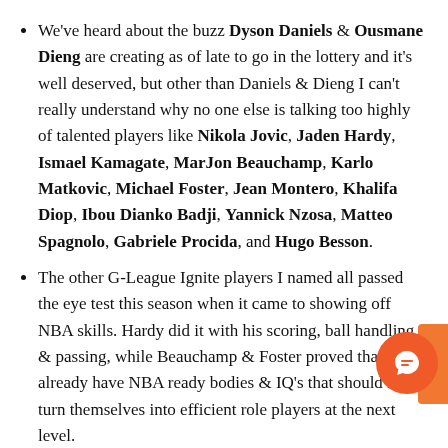We've heard about the buzz Dyson Daniels & Ousmane Dieng are creating as of late to go in the lottery and it's well deserved, but other than Daniels & Dieng I can't really understand why no one else is talking too highly of talented players like Nikola Jovic, Jaden Hardy, Ismael Kamagate, MarJon Beauchamp, Karlo Matkovic, Michael Foster, Jean Montero, Khalifa Diop, Ibou Dianko Badji, Yannick Nzosa, Matteo Spagnolo, Gabriele Procida, and Hugo Besson.
The other G-League Ignite players I named all passed the eye test this season when it came to showing off NBA skills. Hardy did it with his scoring, ball handling, & passing, while Beauchamp & Foster proved that they already have NBA ready bodies & IQ's that should help turn themselves into efficient role players at the next level.
As for the remaining overseas players, wings Jovic, Mo... Spagnolo, Procida, & Besson proved they can produce offense at